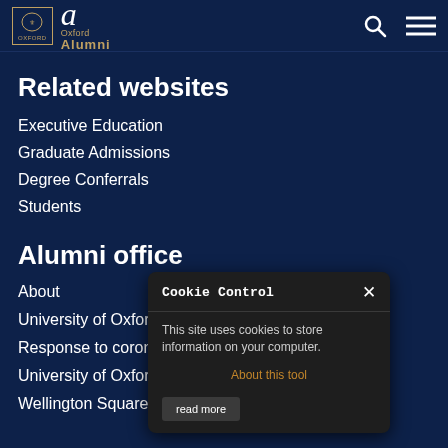University of Oxford Alumni
Related websites
Executive Education
Graduate Admissions
Degree Conferrals
Students
Alumni office
About
University of Oxford Code of Conduct
Response to coronavirus (COVID-19)
University of Oxford
Wellington Square
[Figure (screenshot): Cookie Control popup overlay with title 'Cookie Control', close button X, text 'This site uses cookies to store information on your computer.', link 'About this tool', and 'read more' button]